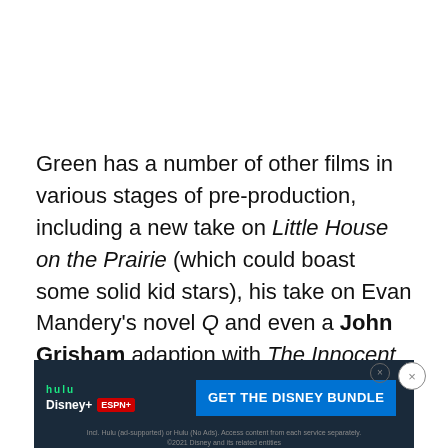Green has a number of other films in various stages of pre-production, including a new take on Little House on the Prairie (which could boast some solid kid stars), his take on Evan Mandery's novel Q and even a John Grisham adaption with The Innocent Man (if there's one thing John Grisham movies need, it's big stars). Roll out the casting.
[Figure (other): Disney Bundle advertisement banner showing Hulu, Disney+, and ESPN+ logos with 'GET THE DISNEY BUNDLE' call to action button and small print about subscription terms. ©2021 Disney and its related entities.]